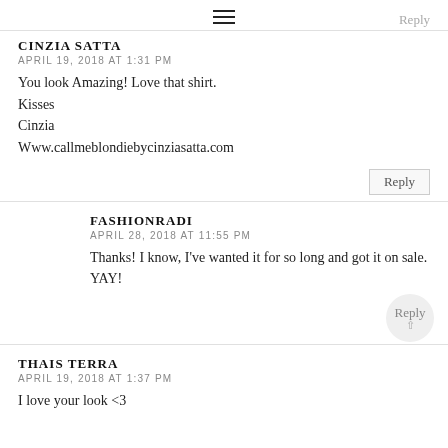≡   Reply
CINZIA SATTA
APRIL 19, 2018 AT 1:31 PM
You look Amazing! Love that shirt.
Kisses
Cinzia
Www.callmeblondiebycinziasatta.com
Reply
FASHIONRADI
APRIL 28, 2018 AT 11:55 PM
Thanks! I know, I've wanted it for so long and got it on sale. YAY!
Reply
THAIS TERRA
APRIL 19, 2018 AT 1:37 PM
I love your look <3